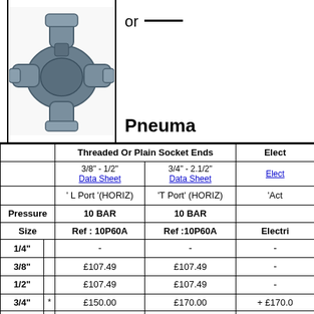[Figure (photo): Grey PVC 3-way ball valve with threaded/plain socket ends, shown from an angle revealing three ports.]
or —
Pneuma
|  |  | Threaded Or Plain Socket Ends (L Port HORIZ / T Port HORIZ) | Elect |
| --- | --- | --- | --- |
|  |  | 3/8" - 1/2" Data Sheet | 3/4" - 2.1/2" Data Sheet | Elect |
|  |  | ' L Port '(HORIZ) | 'T Port' (HORIZ) | 'Act |
| Pressure |  | 10 BAR | 10 BAR |  |
| Size |  | Ref : 10P60A | Ref :10P60A | Electri |
| 1/4" |  | - | - | - |
| 3/8" |  | £107.49 | £107.49 | - |
| 1/2" |  | £107.49 | £107.49 | - |
| 3/4" | * | £150.00 | £170.00 | + £170.0 |
| 1" | * | £150.00 | £170.00 | + £170.0 |
| 1.1/4" | * | £180.00 | £200.00 | + £170.0 |
| 1.1/2" | * | £180.00 | £200.00 | + £170.0 |
| 2" | * | £215.00 | £235.00 | + £170.0 |